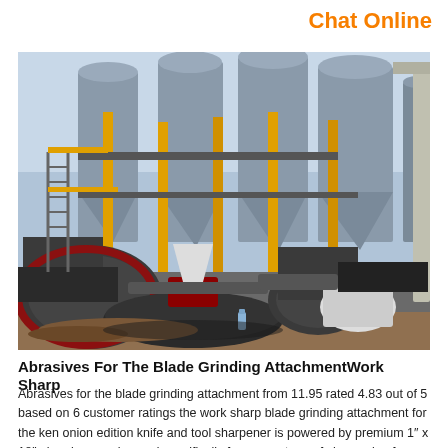Chat Online
[Figure (photo): Industrial facility with large grey cylindrical silos, yellow support columns, heavy machinery including a large grinding mill in the foreground, and a crane on the right side. Construction/industrial site setting.]
Abrasives For The Blade Grinding AttachmentWork Sharp
Abrasives for the blade grinding attachment from 11.95 rated 4.83 out of 5 based on 6 customer ratings the work sharp blade grinding attachment for the ken onion edition knife and tool sharpener is powered by premium 1″ x 18″ abrasives engineered specifically for every stage of sharpening from complete restoration to applying a mirror